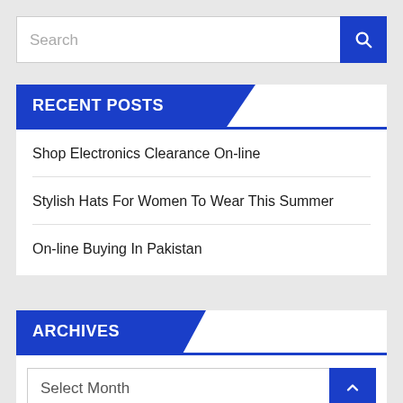[Figure (screenshot): Search input box with blue search button containing a magnifying glass icon]
RECENT POSTS
Shop Electronics Clearance On-line
Stylish Hats For Women To Wear This Summer
On-line Buying In Pakistan
ARCHIVES
[Figure (screenshot): Select Month dropdown with blue chevron-up button]